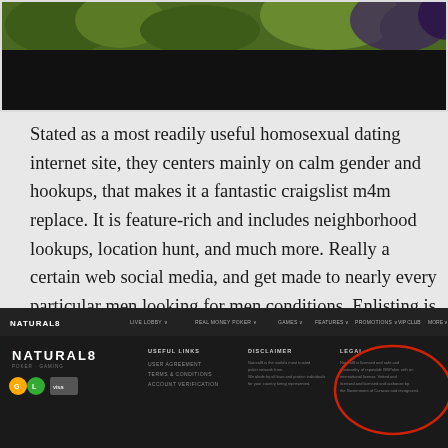[Figure (screenshot): Top banner with green and black sections, partial website header image]
Stated as a most readily useful homosexual dating internet site, they centers mainly on calm gender and hookups, that makes it a fantastic craigslist m4m replace. It is feature-rich and includes neighborhood lookups, location hunt, and much more. Really a certain web social media, and get made to nearly every particular men looking for men conditions. Enlisting is quick and upfront, making use of about 20 minutes or so approximately to plete. Then you can certainly start researching, mute the ones from no attention,
[Figure (screenshot): Natural8 poker website navigation bar and footer screenshot with NATURAL8 logo, useful links, disclaimer, and legal columns with a red circle highlighting the legal section]